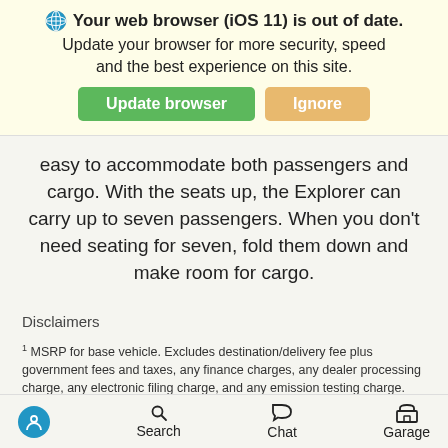[Figure (screenshot): Browser warning banner: globe icon, bold text 'Your web browser (iOS 11) is out of date.' with subtitle 'Update your browser for more security, speed and the best experience on this site.' Two buttons: green 'Update browser' and tan 'Ignore'.]
easy to accommodate both passengers and cargo. With the seats up, the Explorer can carry up to seven passengers. When you don't need seating for seven, fold them down and make room for cargo.
Disclaimers
1 MSRP for base vehicle. Excludes destination/delivery fee plus government fees and taxes, any finance charges, any dealer processing charge, any electronic filing charge, and any emission testing charge. Optional equipment not included. Starting A, Z and X Plan price is for qualified, eligible customers and excludes document
Accessibility  Search  Chat  Garage